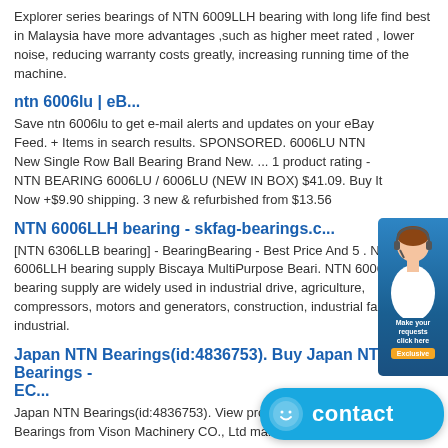Explorer series bearings of NTN 6009LLH bearing with long life find best in Malaysia have more advantages ,such as higher meet rated , lower noise, reducing warranty costs greatly, increasing running time of the machine.
ntn 6006lu | eB...
Save ntn 6006lu to get e-mail alerts and updates on your eBay Feed. + Items in search results. SPONSORED. 6006LU NTN New Single Row Ball Bearing Brand New. ... 1 product rating - NTN BEARING 6006LU / 6006LU (NEW IN BOX) $41.09. Buy It Now +$9.90 shipping. 3 new & refurbished from $13.56
NTN 6006LLH bearing - skfag-bearings.c...
[NTN 6306LLB bearing] - BearingBearing - Best Price And 5 . NTN 6006LLH bearing supply Biscaya MultiPurpose Beari. NTN 6006LLH bearing supply are widely used in industrial drive, agriculture, compressors, motors and generators, construction, industrial fan, industrial.
Japan NTN Bearings(id:4836753). Buy Japan NTN Bearings - EC...
Japan NTN Bearings(id:4836753). View product details of Japan NTN Bearings from Vison Machinery CO., Ltd manufacturer in EC21
NTN 6006LLH Bearing - allen-bearing.c...
We export high quantities NTN 6006LLH Bearing and relative items, we have huge stocks for NTN 6006LLH Bearing and relative items, we supply